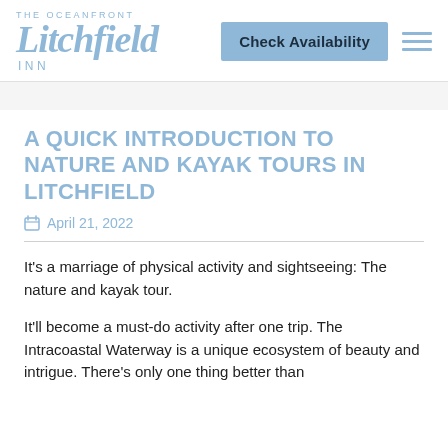[Figure (logo): The Oceanfront Litchfield Inn logo in light blue, with decorative script lettering]
Check Availability
A QUICK INTRODUCTION TO NATURE AND KAYAK TOURS IN LITCHFIELD
April 21, 2022
It's a marriage of physical activity and sightseeing: The nature and kayak tour.
It'll become a must-do activity after one trip. The Intracoastal Waterway is a unique ecosystem of beauty and intrigue. There's only one thing better than